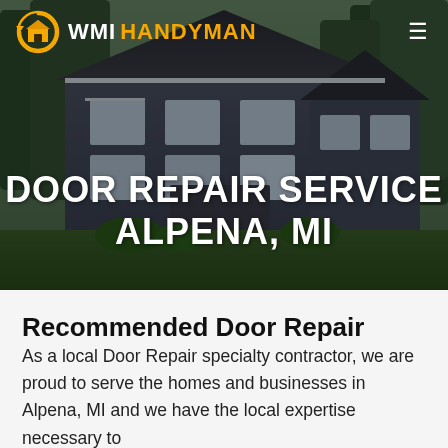[Figure (photo): Hero background photo of a large blue-grey suburban house with green lawn and trees, with a dark overlay]
WMI HANDYMAN
DOOR REPAIR SERVICE ALPENA, MI
Recommended Door Repair
As a local Door Repair specialty contractor, we are proud to serve the homes and businesses in Alpena, MI and we have the local expertise necessary to